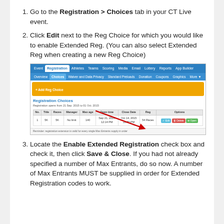Go to the Registration > Choices tab in your CT Live event.
Click Edit next to the Reg Choice for which you would like to enable Extended Reg. (You can also select Extended Reg when creating a new Reg Choice)
[Figure (screenshot): Screenshot of CT Live event registration interface showing the Registration > Choices tab with a red arrow pointing to the Edit button next to a registration choice row. Shows nav tabs: Event, Registration, Athletes, Teams, Scoring, Media, Email, Lottery, Reports, App Builder. Sub-tabs: Overview, Choices, Waiver and Data Privacy, Standard Preloads, Donation, Coupons, Graphics, More. An orange 'Add Reg Choice' button is visible. The Registration Choices table shows columns: No., Title, Races, Manager, Max age, Open time, Close Date, Reg, Options. One row with Edit, Delete, Open buttons.]
Locate the Enable Extended Registration check box and check it, then click Save & Close. If you had not already specified a number of Max Entrants, do so now. A number of Max Entrants MUST be supplied in order for Extended Registration codes to work.